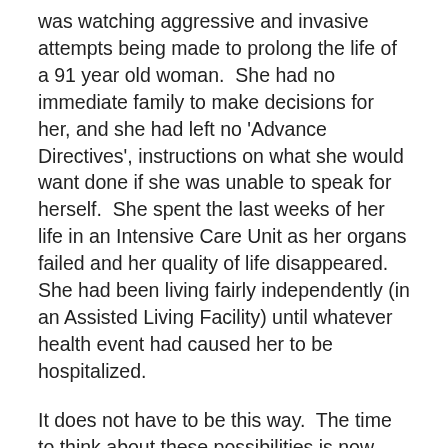was watching aggressive and invasive attempts being made to prolong the life of a 91 year old woman. She had no immediate family to make decisions for her, and she had left no 'Advance Directives', instructions on what she would want done if she was unable to speak for herself. She spent the last weeks of her life in an Intensive Care Unit as her organs failed and her quality of life disappeared. She had been living fairly independently (in an Assisted Living Facility) until whatever health event had caused her to be hospitalized.
It does not have to be this way. The time to think about these possibilities is now, when you are healthy. Would you want to end up being unable to make your own decisions, lying in an ICU surrounded by lines and tubes, being poked and prodded for blood samples to measure the inner workings of your dying cells? What if there was